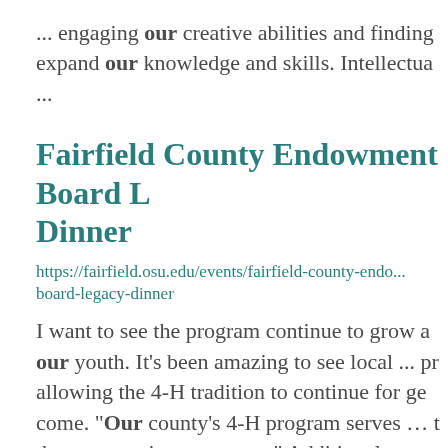... engaging our creative abilities and finding expand our knowledge and skills. Intellectua ...
Fairfield County Endowment Board Legacy Dinner
https://fairfield.osu.edu/events/fairfield-county-endowment-board-legacy-dinner
I want to see the program continue to grow and our youth. It's been amazing to see local ... pr allowing the 4-H tradition to continue for gen come. "Our county's 4-H program serves ... t the program in our county." Additional spons available for the Legacy Dinner ...